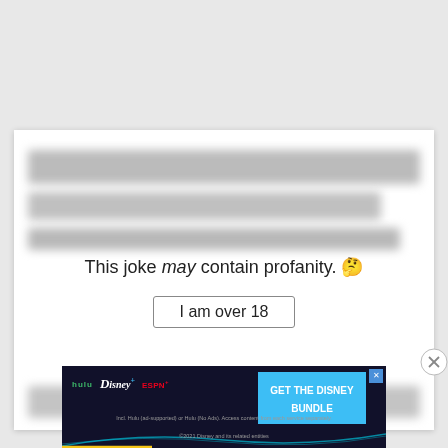[Figure (screenshot): A web content card with blurred text rows at top and bottom, and a profanity warning overlay in the center reading 'This joke may contain profanity.' with an 'I am over 18' button. A close (X) button appears at the bottom right of the card.]
This joke may contain profanity. 🤔
I am over 18
[Figure (screenshot): Disney Bundle advertisement banner showing Hulu, Disney+, and ESPN+ logos with text 'GET THE DISNEY BUNDLE' and fine print: 'Incl. Hulu (ad-supported) or Hulu (No Ads). Access content from each service separately. ©2021 Disney and its related entities']